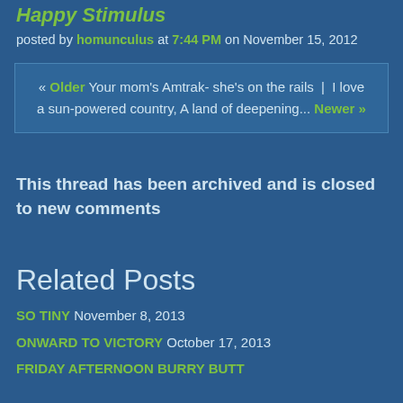posted by homunculus at 7:44 PM on November 15, 2012
« Older Your mom's Amtrak- she's on the rails | I love a sun-powered country, A land of deepening... Newer »
This thread has been archived and is closed to new comments
Related Posts
SO TINY November 8, 2013
ONWARD TO VICTORY October 17, 2013
FRIDAY AFTERNOON BURRY BUTT ...